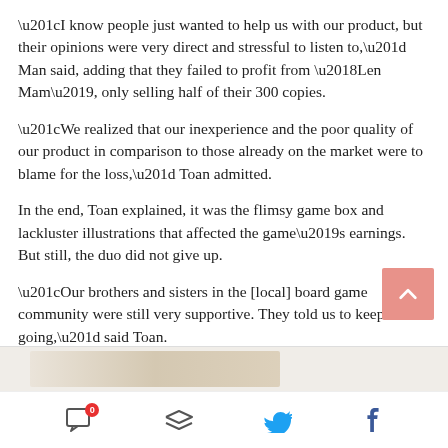“I know people just wanted to help us with our product, but their opinions were very direct and stressful to listen to,” Man said, adding that they failed to profit from ‘Len Mam’, only selling half of their 300 copies.
“We realized that our inexperience and the poor quality of our product in comparison to those already on the market were to blame for the loss,” Toan admitted.
In the end, Toan explained, it was the flimsy game box and lackluster illustrations that affected the game’s earnings. But still, the duo did not give up.
“Our brothers and sisters in the [local] board game community were still very supportive. They told us to keep going,” said Toan.
[Figure (screenshot): Partial image strip visible at bottom of article content area]
Social media icon bar with comment (badge: 0), layers, Twitter, and Facebook icons